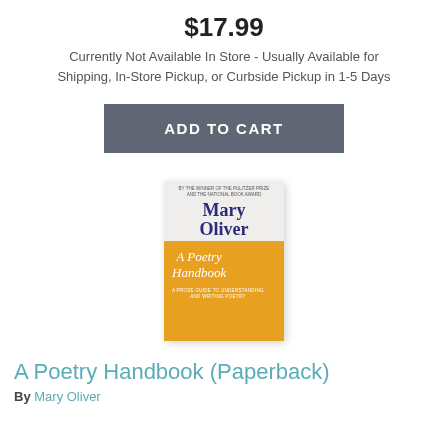$17.99
Currently Not Available In Store - Usually Available for Shipping, In-Store Pickup, or Curbside Pickup in 1-5 Days
ADD TO CART
[Figure (illustration): Book cover of 'A Poetry Handbook' by Mary Oliver. Top half is light gray/white with author name in dark blue serif font. Bottom half is orange/yellow with title 'A Poetry Handbook' in white italic serif font.]
A Poetry Handbook (Paperback)
By Mary Oliver